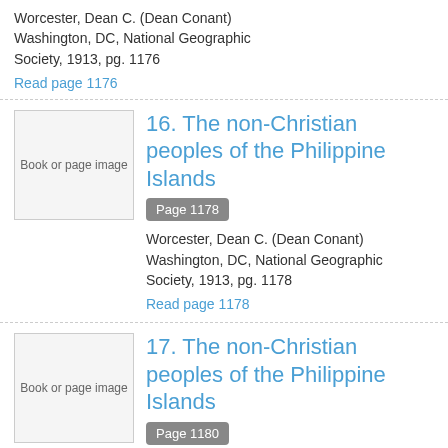Worcester, Dean C. (Dean Conant) Washington, DC, National Geographic Society, 1913, pg. 1176
Read page 1176
[Figure (other): Book or page image placeholder thumbnail]
16. The non-Christian peoples of the Philippine Islands
Page 1178
Worcester, Dean C. (Dean Conant) Washington, DC, National Geographic Society, 1913, pg. 1178
Read page 1178
[Figure (other): Book or page image placeholder thumbnail]
17. The non-Christian peoples of the Philippine Islands
Page 1180
Worcester, Dean C. (Dean Conant) Washington, DC, National Geographic Society, 1913, pg. 1180